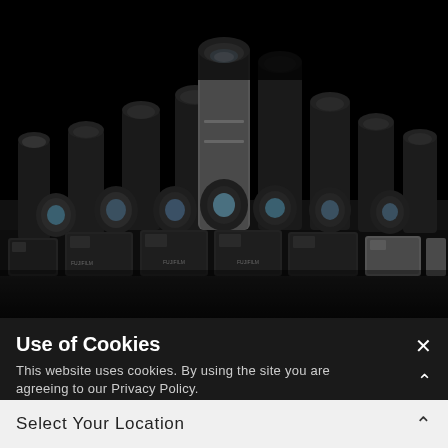[Figure (photo): Array of Fujifilm cameras and lenses arranged on a dark surface against a black background, shot from the front. Multiple camera bodies and various lenses of different sizes are displayed in a row, lit dramatically from above.]
Use of Cookies
This website uses cookies. By using the site you are agreeing to our Privacy Policy.
Select Your Location